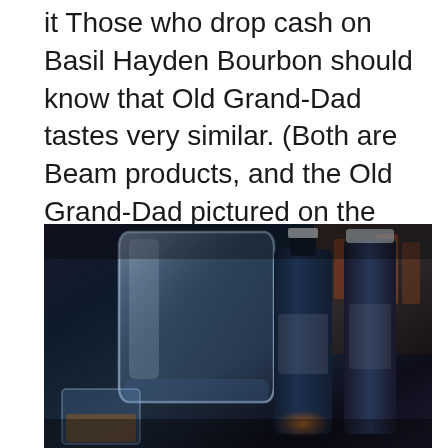it Those who drop cash on Basil Hayden Bourbon should know that Old Grand-Dad tastes very similar. (Both are Beam products, and the Old Grand-Dad pictured on the label is Basil Hayden.) Like Buffalo Trace and Evan Williams Black Label, Old Grand-Dad 80 proof makes a вЂ¦.
[Figure (photo): Dark atmospheric photo of whiskey glassware and dark bottles on a bar, with a large glass tumbler in the foreground and bottles in the background]